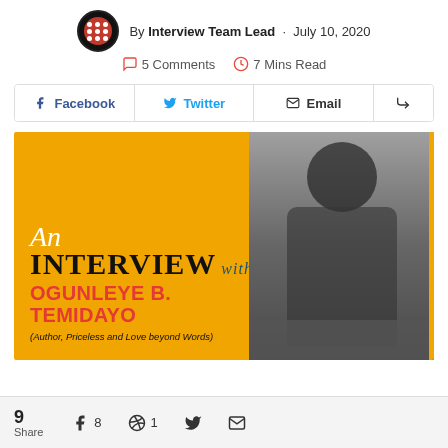By Interview Team Lead · July 10, 2020
5 Comments · 7 Mins Read
Facebook | Twitter | Email | Share
[Figure (photo): Feature image for interview with Ogunleye B. Temidayo. Left half has an amber/gold background with italic script 'An', bold 'INTERVIEW with', and name 'OGUNLEYE B. TEMIDAYO' in red, with subtitle '(Author, Priceless and Love beyond Words)'. Right half shows a black and white photo of a woman in formal attire seated outdoors.]
9 Share  Facebook 8  Pinterest 1  Twitter  Email